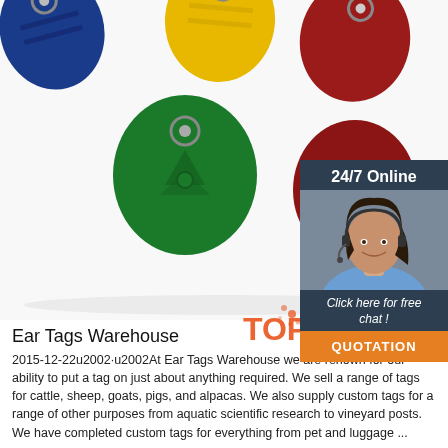[Figure (photo): Photo of colorful RFID key fob tags in blue, yellow, red, and green colors with metal key rings, arranged on a white background.]
[Figure (infographic): 24/7 Online chat support widget showing a smiling female customer service representative wearing a headset, with text 'Click here for free chat!' and an orange QUOTATION button.]
Ear Tags Warehouse
2015-12-22u2002·u2002At Ear Tags Warehouse we are renown for our ability to put a tag on just about anything required. We sell a range of tags for cattle, sheep, goats, pigs, and alpacas. We also supply custom tags for a range of other purposes from aquatic scientific research to vineyard posts. We have completed custom tags for everything from pet and luggage ...